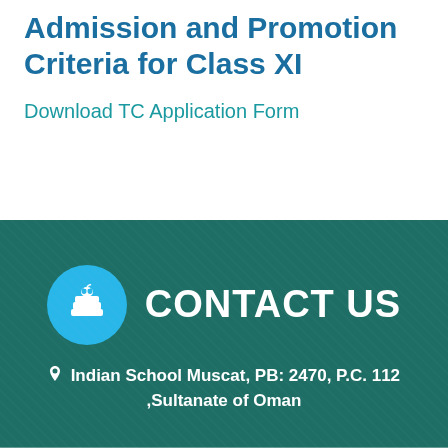Admission and Promotion Criteria for Class XI
Download TC Application Form
[Figure (infographic): Contact Us section with teal/dark green background, circular blue icon with apple and books symbol, bold white CONTACT US text]
Indian School Muscat, PB: 2470, P.C. 112 ,Sultanate of Oman